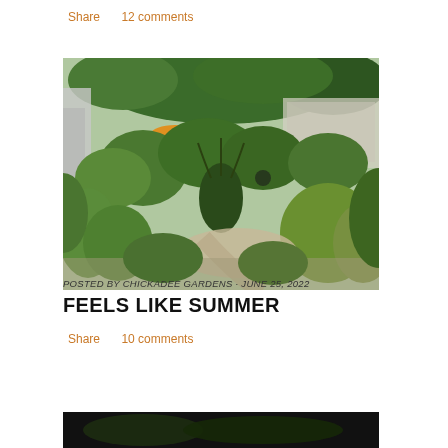Share    12 comments
[Figure (photo): Aerial/elevated view of a lush garden with various shrubs, ornamental grasses, a gravel path, and a patio area with an orange/yellow umbrella visible in the background among dense greenery and trees.]
POSTED BY CHICKADEE GARDENS · June 25, 2022
FEELS LIKE SUMMER
Share    10 comments
[Figure (photo): Partial view of another garden photo at the bottom of the page, mostly dark.]